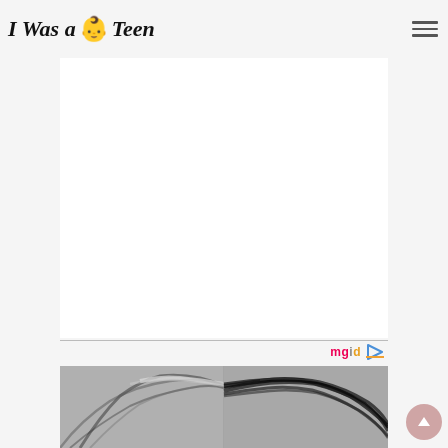I Was a Baby Teen
[Figure (other): Advertisement area (white rectangle, ad placeholder)]
[Figure (logo): mgid logo with play button icon]
[Figure (photo): Split before/after photo of a person's hair, showing thinning/gray roots on left side and full dark hair on right side, against a light gray background]